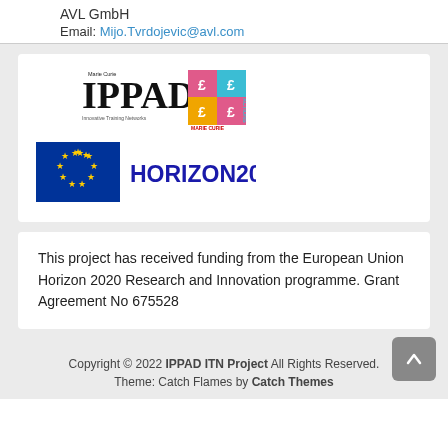AVL GmbH
Email: Mijo.Tvrdojevic@avl.com
[Figure (logo): IPPAD Marie Curie Innovative Training Networks logo with colorful grid image and Marie Curie Actions branding]
[Figure (logo): European Union flag with stars and HORIZON2020 text in blue]
This project has received funding from the European Union Horizon 2020 Research and Innovation programme. Grant Agreement No 675528
Copyright © 2022 IPPAD ITN Project All Rights Reserved. Theme: Catch Flames by Catch Themes